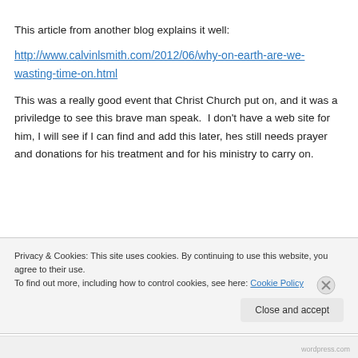This article from another blog explains it well:
http://www.calvinlsmith.com/2012/06/why-on-earth-are-we-wasting-time-on.html
This was a really good event that Christ Church put on, and it was a priviledge to see this brave man speak.  I don't have a web site for him, I will see if I can find and add this later, hes still needs prayer and donations for his treatment and for his ministry to carry on.
Privacy & Cookies: This site uses cookies. By continuing to use this website, you agree to their use.
To find out more, including how to control cookies, see here: Cookie Policy
Close and accept